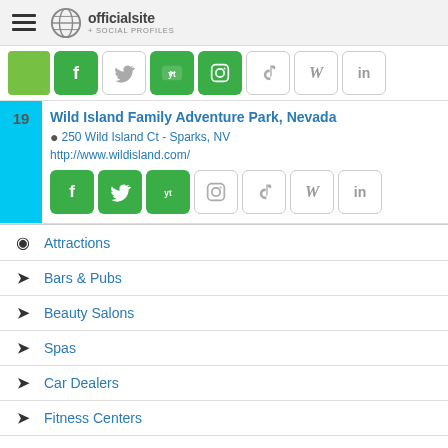officialsite + SOCIAL PROFILES
[Figure (screenshot): Social media icon buttons row: green swatch, Facebook (green), Twitter (white), YouTube (green), Instagram (green), TikTok (white), Wikipedia (white), LinkedIn (white)]
19 Wild Island Family Adventure Park, Nevada
250 Wild Island Ct - Sparks, NV
http://www.wildisland.com/
[Figure (screenshot): Social media icon buttons row: Facebook (green), Twitter (green), YouTube (green), Instagram (white), TikTok (white), Wikipedia (white), LinkedIn (white)]
Attractions
Bars & Pubs
Beauty Salons
Spas
Car Dealers
Fitness Centers